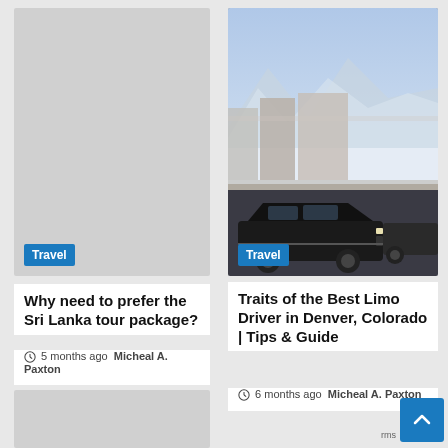[Figure (photo): Gray placeholder image for left top card with Travel badge]
[Figure (photo): Photo of a black luxury sedan/limo parked in a snowy downtown area with mountains in background, with Travel badge]
Why need to prefer the Sri Lanka tour package?
5 months ago  Micheal A. Paxton
Traits of the Best Limo Driver in Denver, Colorado | Tips & Guide
6 months ago  Micheal A. Paxton
[Figure (photo): Gray placeholder image for bottom left card (partially visible)]